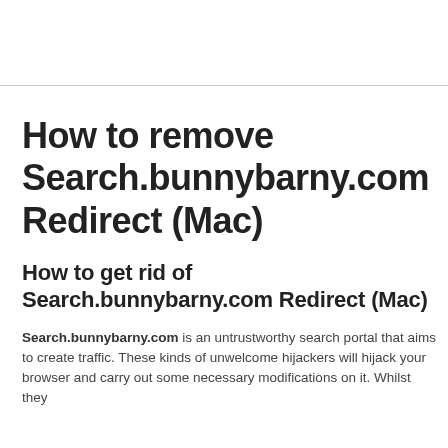How to remove Search.bunnybarny.com Redirect (Mac)
How to get rid of Search.bunnybarny.com Redirect (Mac)
Search.bunnybarny.com is an untrustworthy search portal that aims to create traffic. These kinds of unwelcome hijackers will hijack your browser and carry out some necessary modifications on it. Whilst they...